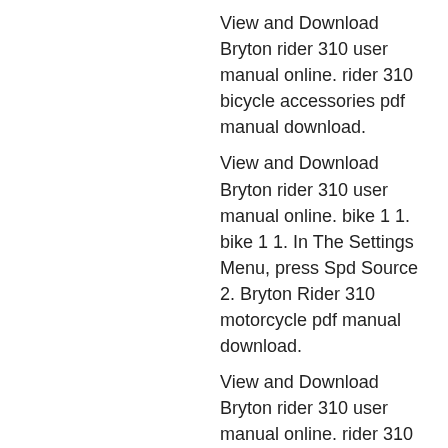View and Download Bryton rider 310 user manual online. rider 310 bicycle accessories pdf manual download.
View and Download Bryton rider 310 user manual online. bike 1 1. bike 1 1. In The Settings Menu, press Spd Source 2. Bryton Rider 310 motorcycle pdf manual download.
View and Download Bryton rider 310 user manual online. rider 310 bicycle accessories pdf manual download.
View and Download Bryton rider 310 user manual online. rider 310 bicycle accessories pdf manual download.
View and Download Bryton Rider 310 user manual online. rider 310 bicycle accessories pdf manual download.
Bryton rider 310 User Manual: settings, smart lap, altitude, sensors, exercises, altitudes, and settings. In the Settings menu, press Spd Source.
View and Download Bryton rider 310 user